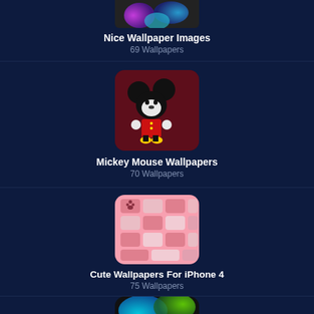[Figure (screenshot): Partial thumbnail of Nice Wallpaper Images - colorful abstract top]
Nice Wallpaper Images
69 Wallpapers
[Figure (screenshot): Thumbnail of Mickey Mouse Wallpapers - Mickey Mouse on dark red background]
Mickey Mouse Wallpapers
70 Wallpapers
[Figure (screenshot): Thumbnail of Cute Wallpapers For iPhone 4 - pink grid pattern with cute icons]
Cute Wallpapers For iPhone 4
75 Wallpapers
[Figure (screenshot): Partial thumbnail of next wallpaper category - colorful abstract]